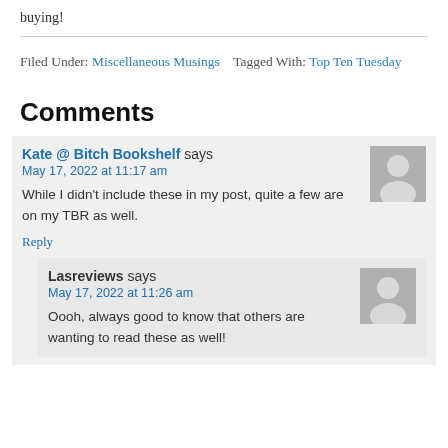buying!
Filed Under: Miscellaneous Musings   Tagged With: Top Ten Tuesday
Comments
Kate @ Bitch Bookshelf says
May 17, 2022 at 11:17 am
While I didn't include these in my post, quite a few are on my TBR as well.
Reply
Lasreviews says
May 17, 2022 at 11:26 am
Oooh, always good to know that others are wanting to read these as well!